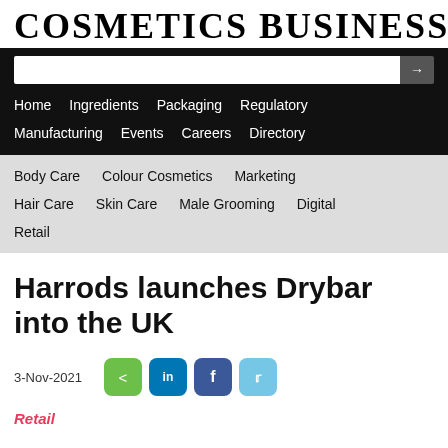COSMETICS BUSINESS
[Figure (screenshot): Navigation bar with black background showing search box and nav links: Home, Ingredients, Packaging, Regulatory, Manufacturing, Events, Careers, Directory]
Body Care   Colour Cosmetics   Marketing   Hair Care   Skin Care   Male Grooming   Digital   Retail
Harrods launches Drybar into the UK
3-Nov-2021
Retail